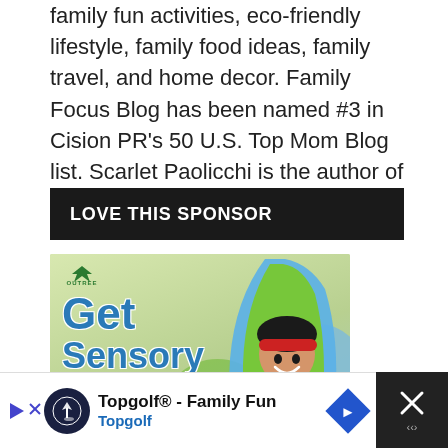family fun activities, eco-friendly lifestyle, family food ideas, family travel, and home decor. Family Focus Blog has been named #3 in Cision PR's 50 U.S. Top Mom Blog list. Scarlet Paolicchi is the author of four books.
LOVE THIS SPONSOR
[Figure (photo): Outree advertisement showing a child smiling inside a green and blue sensory swing pod. Text reads: Get Sensory Swing $20 OFF]
[Figure (screenshot): Bottom banner ad for Topgolf showing logo, text 'Topgolf® - Family Fun' and 'Topgolf' in blue, with navigation diamond icon, and a close X button on the right]